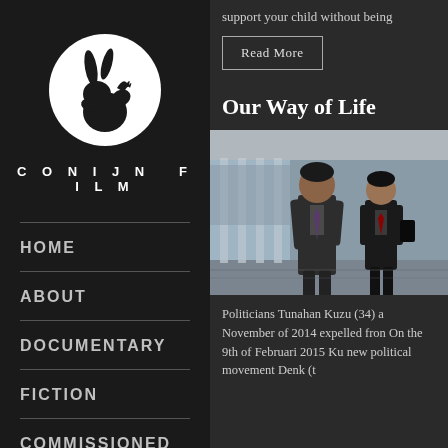[Figure (logo): Conijn Film logo: white circle with rabbit silhouette on black background, with text CONIJN FILM below]
HOME
ABOUT
DOCUMENTARY
FICTION
COMMISSIONED
support your child without being
Read More
Our Way of Life
[Figure (photo): Two politicians in suits walking through a corridor with large glass windows and columns]
Politicians Tunahan Kuzu (34) a November of 2014 expelled from On the 9th of Februari 2015 Ku new political movement Denk (t